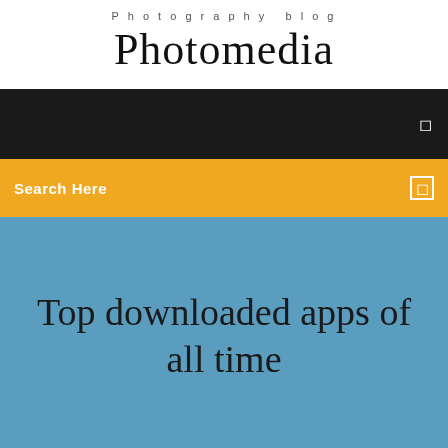Photography blog
Photomedia
[Figure (screenshot): Black navigation bar with a white menu icon on the right]
Search Here
Top downloaded apps of all time